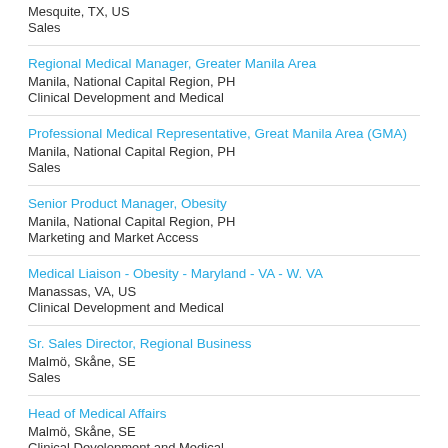Mesquite, TX, US
Sales
Regional Medical Manager, Greater Manila Area
Manila, National Capital Region, PH
Clinical Development and Medical
Professional Medical Representative, Great Manila Area (GMA)
Manila, National Capital Region, PH
Sales
Senior Product Manager, Obesity
Manila, National Capital Region, PH
Marketing and Market Access
Medical Liaison - Obesity - Maryland - VA - W. VA
Manassas, VA, US
Clinical Development and Medical
Sr. Sales Director, Regional Business
Malmö, Skåne, SE
Sales
Head of Medical Affairs
Malmö, Skåne, SE
Clinical Development and Medical